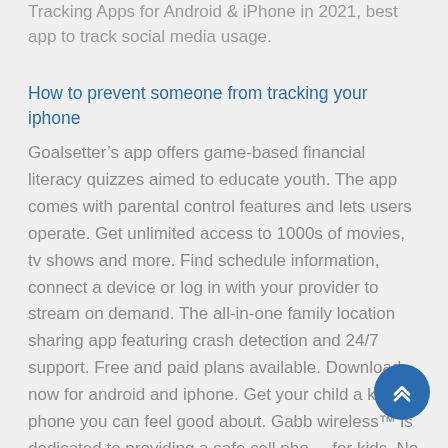Tracking Apps for Android & iPhone in 2021, best app to track social media usage.
How to prevent someone from tracking your iphone
Goalsetter’s app offers game-based financial literacy quizzes aimed to educate youth. The app comes with parental control features and lets users operate. Get unlimited access to 1000s of movies, tv shows and more. Find schedule information, connect a device or log in with your provider to stream on demand. The all-in-one family location sharing app featuring crash detection and 24/7 support. Free and paid plans available. Download now for android and iphone. Get your child a kids phone you can feel good about. Gabb wireless™ is dedicated to providing a safe cell phone for kids. No web or app browsing... here at